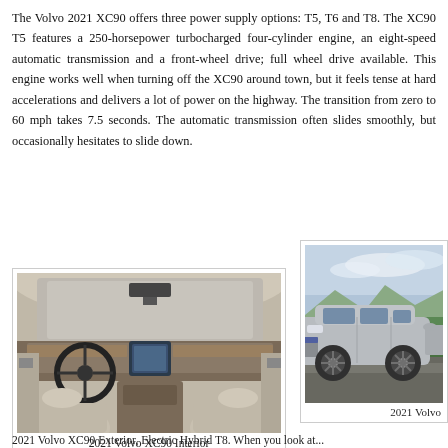The Volvo 2021 XC90 offers three power supply options: T5, T6 and T8. The XC90 T5 features a 250-horsepower turbocharged four-cylinder engine, an eight-speed automatic transmission and a front-wheel drive; full wheel drive available. This engine works well when turning off the XC90 around town, but it feels tense at hard accelerations and delivers a lot of power on the highway. The transition from zero to 60 mph takes 7.5 seconds. The automatic transmission often slides smoothly, but occasionally hesitates to slide down.
[Figure (photo): Interior photo of 2021 Volvo XC90 showing dashboard, steering wheel, center console, and light beige leather seats]
2021 Volvo XC90 Interior
[Figure (photo): Exterior photo of 2021 Volvo XC90 SUV in silver/grey color parked outdoors with trees and mountains in background]
2021 Volvo
2021 Volvo XC90 Exterior, Electric Hybrid T8. When you look at...